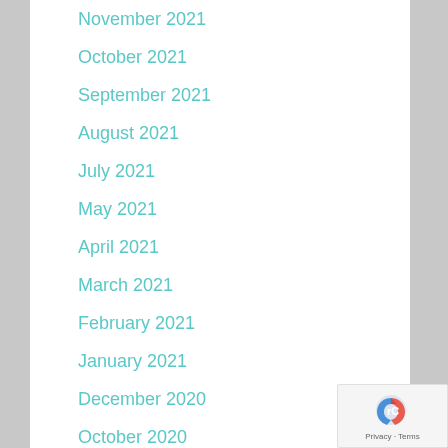November 2021
October 2021
September 2021
August 2021
July 2021
May 2021
April 2021
March 2021
February 2021
January 2021
December 2020
October 2020
September 2020